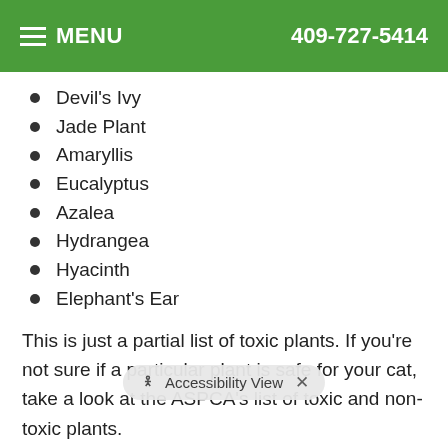MENU  409-727-5414
Devil's Ivy
Jade Plant
Amaryllis
Eucalyptus
Azalea
Hydrangea
Hyacinth
Elephant's Ear
This is just a partial list of toxic plants. If you're not sure if a particular plant is safe for your cat, take a look at the ASPCA's list of toxic and non-toxic plants.
What Are the Safest Plants if I Have a Cat?
Although the list of toxic plants may seem long, many attractive plants are safe for your pet. When you choose a new plant fo... one of